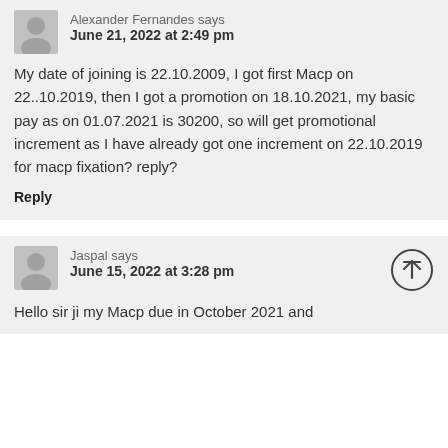Alexander Fernandes says
June 21, 2022 at 2:49 pm
My date of joining is 22.10.2009, I got first Macp on 22..10.2019, then I got a promotion on 18.10.2021, my basic pay as on 01.07.2021 is 30200, so will get promotional increment as I have already got one increment on 22.10.2019 for macp fixation? reply?
Reply
Jaspal says
June 15, 2022 at 3:28 pm
Hello sir ji my Macp due in October 2021 and